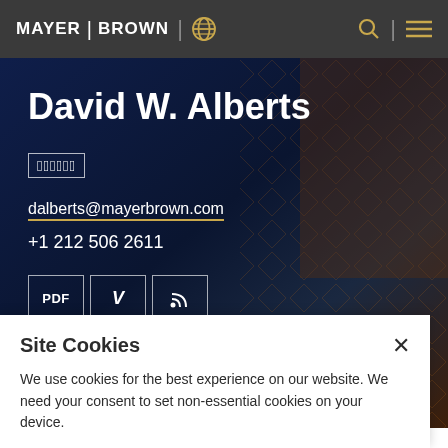MAYER | BROWN
David W. Alberts
[unreadable text in box]
dalberts@mayerbrown.com
+1 212 506 2611
PDF | V | RSS
Site Cookies
We use cookies for the best experience on our website. We need your consent to set non-essential cookies on your device.